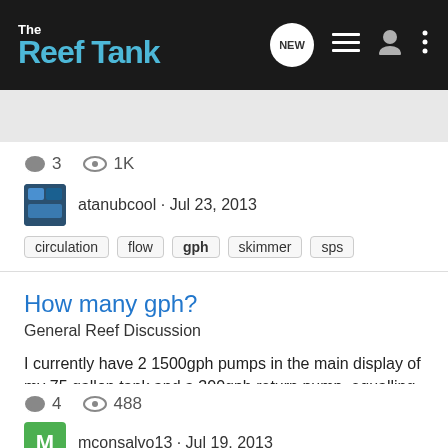The Reef Tank
Search Community
3   1K
atanubcool · Jul 23, 2013
circulation  flow  gph  skimmer  sps
How many gph?
General Reef Discussion
I currently have 2 1500gph pumps in the main display of my 75 gallon tank and a 300gph return pump, equalling 3300 totall gph flow. Is this too much? I would like to upgrade to some new hydor koralia pumps and wanted an opinion on what is the best kind of flow rate for a 75 gallon soon to be...
4   488
mconsalvo13 · Jul 19, 2013